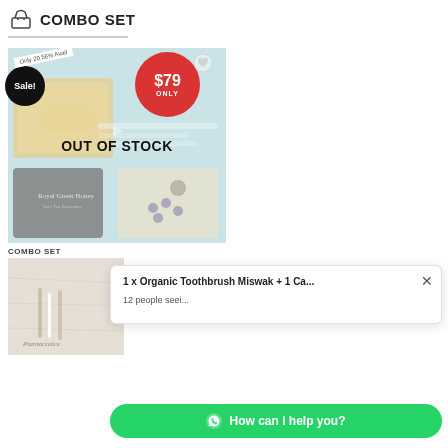COMBO SET
[Figure (photo): E-commerce product listing for a combo set. Shows a product image with 'OUT OF STOCK' overlay, a sale badge ('Sale!'), a red price badge '$79 ONLY', and a heart icon. Products appear to include honey, a jade roller, and other health/beauty items. An 'Only 20 56% Avail' ribbon is shown.]
COMBO SET
[Figure (photo): Second combo set product image showing items on a light fabric background, partially visible.]
1 x Organic Toothbrush Miswak + 1 Ca...
12 people seei...
How can I help you?